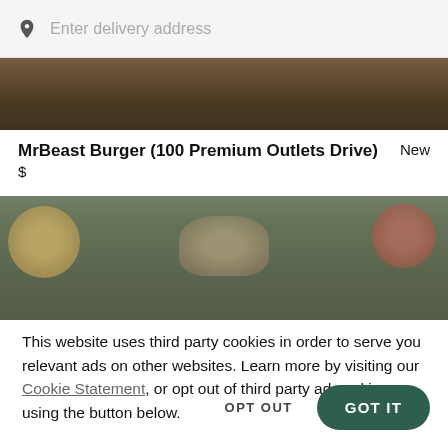Enter delivery address
MrBeast Burger (100 Premium Outlets Drive)  New
$
[Figure (photo): Cropped food photo showing a burger or sandwich on a dark background]
[Figure (photo): Food photo showing bowls of food including corn, various dishes on a wooden board with dark overlay]
This website uses third party cookies in order to serve you relevant ads on other websites. Learn more by visiting our Cookie Statement, or opt out of third party ad cookies using the button below.
OPT OUT
GOT IT